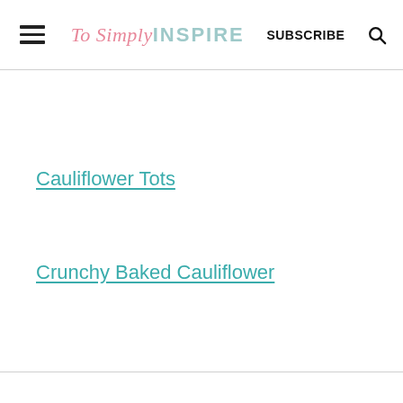To Simply INSPIRE   SUBSCRIBE
Cauliflower Tots
Crunchy Baked Cauliflower